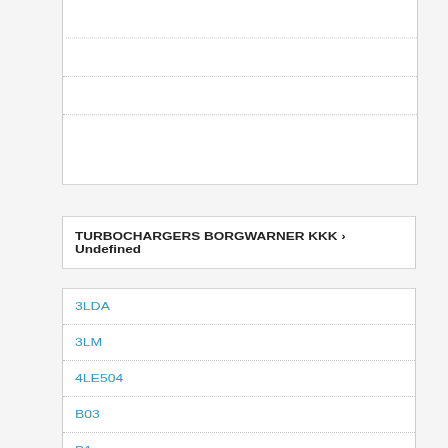TURBOCHARGERS BORGWARNER KKK › Undefined
3LDA
3LM
4LE504
B03
B1
B2G